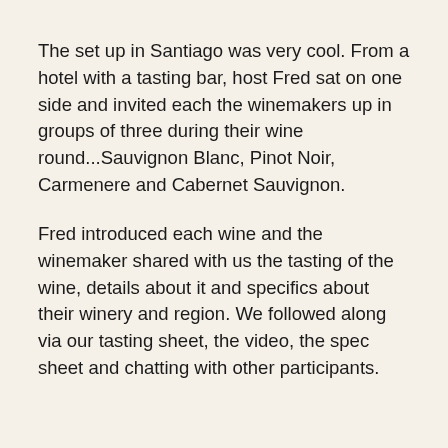The set up in Santiago was very cool. From a hotel with a tasting bar, host Fred sat on one side and invited each the winemakers up in groups of three during their wine round...Sauvignon Blanc, Pinot Noir, Carmenere and Cabernet Sauvignon.
Fred introduced each wine and the winemaker shared with us the tasting of the wine, details about it and specifics about their winery and region. We followed along via our tasting sheet, the video, the spec sheet and chatting with other participants.